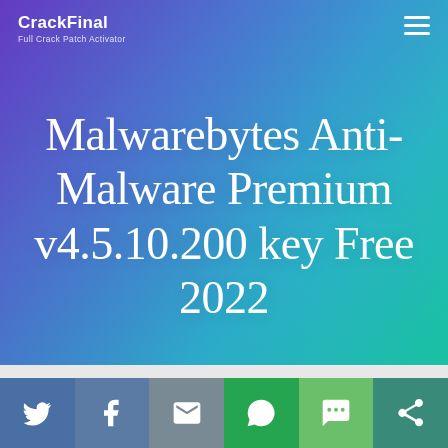CrackFinal
Full Crack Patch Activator
Malwarebytes Anti-Malware Premium v4.5.10.200 key Free 2022
[Figure (infographic): Social sharing bar with Twitter, Facebook, Email, WhatsApp, SMS, and Share icons on colored backgrounds]